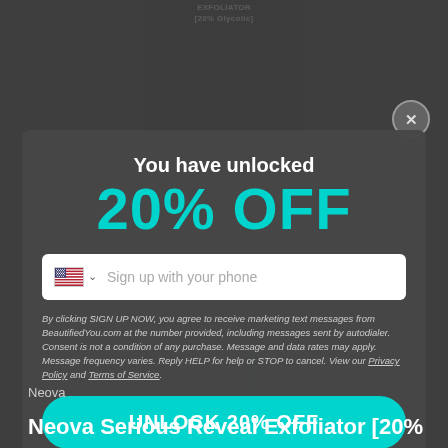[Figure (screenshot): Dark background e-commerce page with product imagery (Neova Serious Reveal Exfoliator 20% Glycolic) partially visible behind a modal popup overlay]
You have unlocked
20% OFF
Sign up with your phone
By clicking SIGN UP NOW, you agree to receive marketing text messages from BeautifiedYou.com at the number provided, including messages sent by autodialer. Consent is not a condition of any purchase. Message and data rates may apply. Message frequency varies. Reply HELP for help or STOP to cancel. View our Privacy Policy and Terms of Service.
UNLOCK 20% OFF
Neova
Neova Serious Reveal Exfoliator [20%